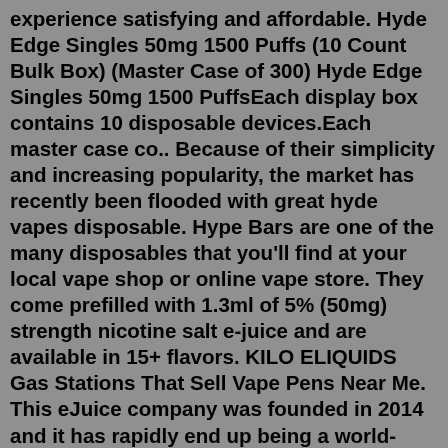experience satisfying and affordable. Hyde Edge Singles 50mg 1500 Puffs (10 Count Bulk Box) (Master Case of 300) Hyde Edge Singles 50mg 1500 PuffsEach display box contains 10 disposable devices.Each master case co.. Because of their simplicity and increasing popularity, the market has recently been flooded with great hyde vapes disposable. Hype Bars are one of the many disposables that you'll find at your local vape shop or online vape store. They come prefilled with 1.3ml of 5% (50mg) strength nicotine salt e-juice and are available in 15+ flavors. KILO ELIQUIDS Gas Stations That Sell Vape Pens Near Me. This eJuice company was founded in 2014 and it has rapidly end up being a world-renowned premium brand, representing the greater freedom of expression, gave you through unique ideas, tastes and designs. All of this, while keeping its' iconic style and originality and developing their ...They hold up to 1.6mL of vape juice per pen, and Hyde disposable vape pens run on a powerful 280mAh battery that gives you enough power to vape all day without it...